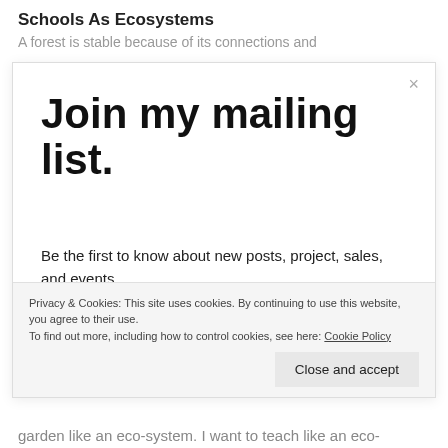Schools As Ecosystems
A forest is stable because of its connections and
Join my mailing list.
Be the first to know about new posts, project, sales, and events.
Email address
Privacy & Cookies: This site uses cookies. By continuing to use this website, you agree to their use.
To find out more, including how to control cookies, see here: Cookie Policy
Close and accept
garden like an eco-system. I want to teach like an eco-